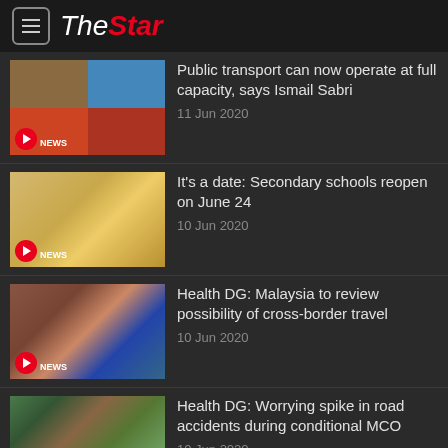The Star
Public transport can now operate at full capacity, says Ismail Sabri — 11 Jun 2020
It's a date: Secondary schools reopen on June 24 — 10 Jun 2020
Health DG: Malaysia to review possibility of cross-border travel — 10 Jun 2020
Health DG: Worrying spike in road accidents during conditional MCO — 10 Jun 2020
M'sians in centres can continue